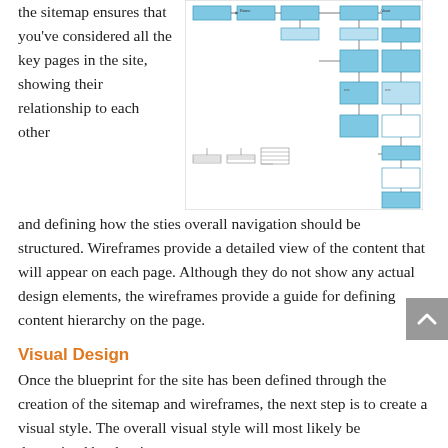the sitemap ensures that you've considered all the key pages in the site, showing their relationship to each other and defining how the sties overall navigation should be structured. Wireframes provide a detailed view of the content that will appear on each page. Although they do not show any actual design elements, the wireframes provide a guide for defining content hierarchy on the page.
[Figure (flowchart): A sitemap/wireframe flowchart showing hierarchical page structure with blue rectangle nodes connected by arrows, representing website navigation structure.]
Visual Design
Once the blueprint for the site has been defined through the creation of the sitemap and wireframes, the next step is to create a visual style. The overall visual style will most likely be determined by the site